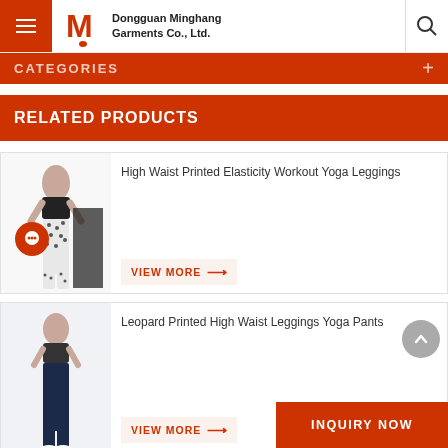Dongguan Minghang Garments Co., Ltd.
CATEGORIES
RELATED PRODUCTS
[Figure (photo): High waist printed elasticity workout yoga leggings product image showing model wearing black and white patterned leggings]
High Waist Printed Elasticity Workout Yoga Leggings
VIEW MORE →
[Figure (photo): Leopard printed high waist leggings yoga pants product image showing model wearing dark navy/black leggings]
Leopard Printed High Waist Leggings Yoga Pants
VIEW MORE →
INQUIRY NOW